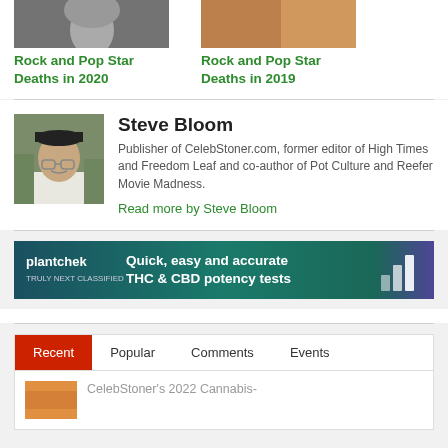[Figure (photo): Two article thumbnail images: left is a black-and-white photo (top cropped), right is a colorful/tattoo-style photo (top cropped)]
Rock and Pop Star Deaths in 2020
Rock and Pop Star Deaths in 2019
[Figure (photo): Author headshot: middle-aged man with glasses and black cap, standing outdoors]
Steve Bloom
Publisher of CelebStoner.com, former editor of High Times and Freedom Leaf and co-author of Pot Culture and Reefer Movie Madness.
Read more by Steve Bloom
[Figure (infographic): Plantchek advertisement banner: teal/dark green background with white text 'Quick, easy and accurate THC & CBD potency tests', plantchek logo on left, bar chart graphic on right with purple bars]
| Recent | Popular | Comments | Events |
| --- | --- | --- | --- |
| CelebStoner's 2022 Cannabis- |  |  |  |
[Figure (photo): Small thumbnail image with orange/warm tones for a recent article]